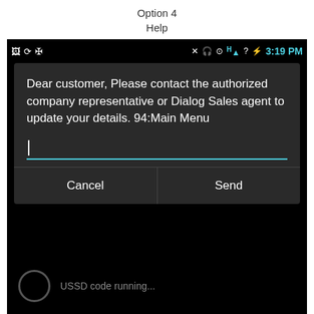Option 4
Help
[Figure (screenshot): Android phone screenshot showing a USSD dialog with the message: 'Dear customer, Please contact the authorized company representative or Dialog Sales agent to update your details. 94:Main Menu' with Cancel and Send buttons, and a 'USSD code running...' indicator at the bottom. Status bar shows 3:19 PM.]